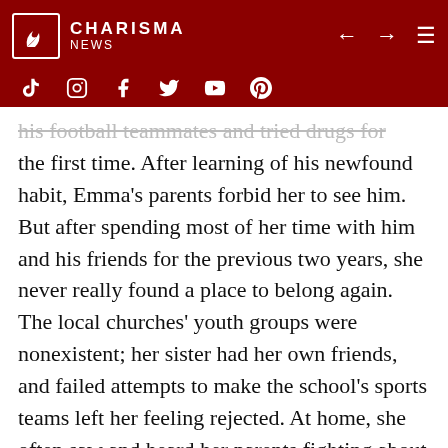CHARISMA NEWS
his football teammates and tried drugs for the first time. After learning of his newfound habit, Emma's parents forbid her to see him. But after spending most of her time with him and his friends for the previous two years, she never really found a place to belong again. The local churches' youth groups were nonexistent; her sister had her own friends, and failed attempts to make the school's sports teams left her feeling rejected. At home, she often saw and heard her parents fighting about money and didn't get the attention she wanted from a distracted mom consumed with trying to keep her marriage together.